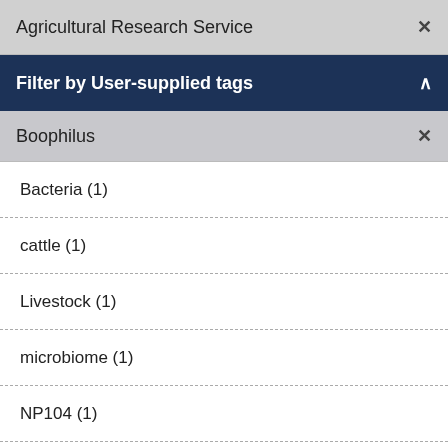Agricultural Research Service ×
Filter by User-supplied tags ∧
Boophilus ×
Bacteria (1)
cattle (1)
Livestock (1)
microbiome (1)
NP104 (1)
pathogens (1)
pyrosequencing (1)
R. microplus (1)
Rhipicephalus microplus (1)
sequence analysis (1)